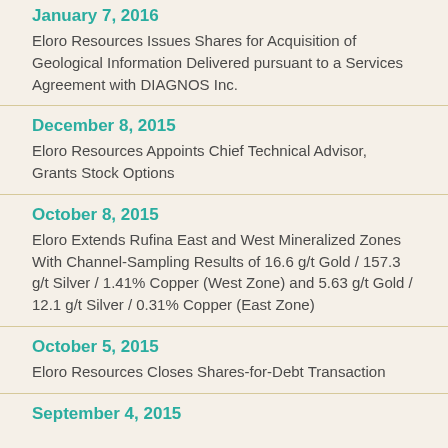January 7, 2016
Eloro Resources Issues Shares for Acquisition of Geological Information Delivered pursuant to a Services Agreement with DIAGNOS Inc.
December 8, 2015
Eloro Resources Appoints Chief Technical Advisor, Grants Stock Options
October 8, 2015
Eloro Extends Rufina East and West Mineralized Zones With Channel-Sampling Results of 16.6 g/t Gold / 157.3 g/t Silver / 1.41% Copper (West Zone) and 5.63 g/t Gold / 12.1 g/t Silver / 0.31% Copper (East Zone)
October 5, 2015
Eloro Resources Closes Shares-for-Debt Transaction
September 4, 2015